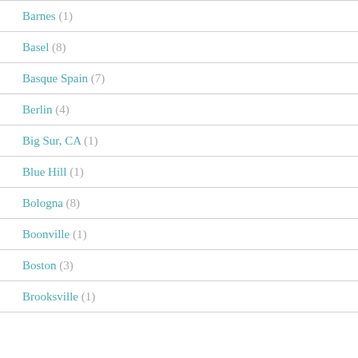Barnes (1)
Basel (8)
Basque Spain (7)
Berlin (4)
Big Sur, CA (1)
Blue Hill (1)
Bologna (8)
Boonville (1)
Boston (3)
Brooksville (1)